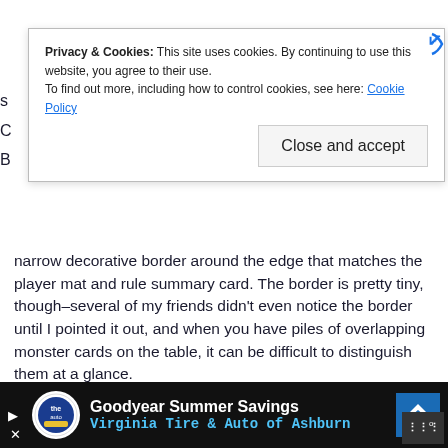[Figure (screenshot): Cookie consent banner overlay with text about privacy and cookies, a 'Close and accept' button, and a blue X icon in the top-right corner.]
narrow decorative border around the edge that matches the player mat and rule summary card. The border is pretty tiny, though–several of my friends didn't even notice the border until I pointed it out, and when you have piles of overlapping monster cards on the table, it can be difficult to distinguish them at a glance.
[Figure (photo): Photo of a young boy sitting at a school desk, looking thoughtful with his hand near his mouth. Text overlay at bottom reads 'You can help']
[Figure (screenshot): Bottom advertisement bar for Goodyear Summer Savings at Virginia Tire & Auto of Ashburn, with Goodyear logo, navigation arrow icon, and weather widget.]